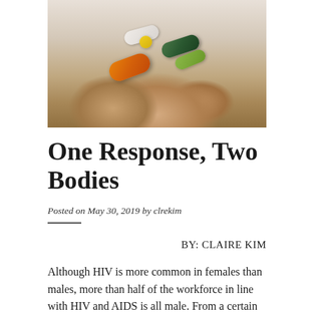[Figure (photo): A hand holding several colorful pills and capsules including an orange capsule, yellow round pill, white capsule, and dark and light green capsules.]
One Response, Two Bodies
Posted on May 30, 2019 by clrekim
BY: CLAIRE KIM
Although HIV is more common in females than males, more than half of the workforce in line with HIV and AIDS is all male. From a certain